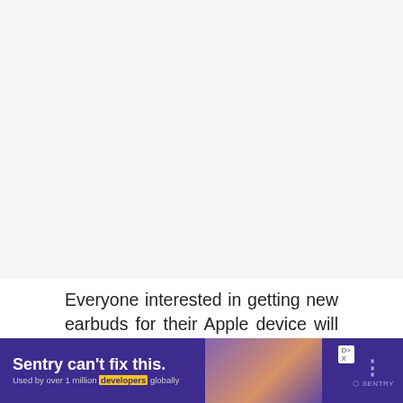[Figure (other): Large light grey image placeholder area at top of page]
Everyone interested in getting new earbuds for their Apple device will love these lightning earbuds. They are waterproof, so if you're the type of person that likes to go running in bad weather,
[Figure (other): Advertisement banner: 'Sentry can't fix this.' purple background ad with Sentry logo, 'Used by over 1 million developers globally', DX badge]